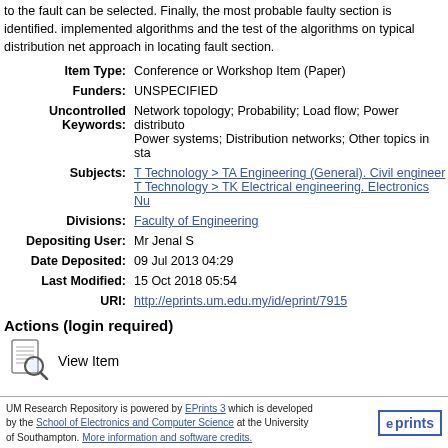to the fault can be selected. Finally, the most probable faulty section is identified. implemented algorithms and the test of the algorithms on typical distribution networks approach in locating fault section.
| Item Type: | Conference or Workshop Item (Paper) |
| Funders: | UNSPECIFIED |
| Uncontrolled Keywords: | Network topology; Probability; Load flow; Power distribution; Power systems; Distribution networks; Other topics in statistics |
| Subjects: | T Technology > TA Engineering (General). Civil engineering
T Technology > TK Electrical engineering. Electronics Nu |
| Divisions: | Faculty of Engineering |
| Depositing User: | Mr Jenal S |
| Date Deposited: | 09 Jul 2013 04:29 |
| Last Modified: | 15 Oct 2018 05:54 |
| URI: | http://eprints.um.edu.my/id/eprint/7915 |
Actions (login required)
[Figure (other): View Item icon (magnifying glass over document)]
View Item
UM Research Repository is powered by EPrints 3 which is developed by the School of Electronics and Computer Science at the University of Southampton. More information and software credits.